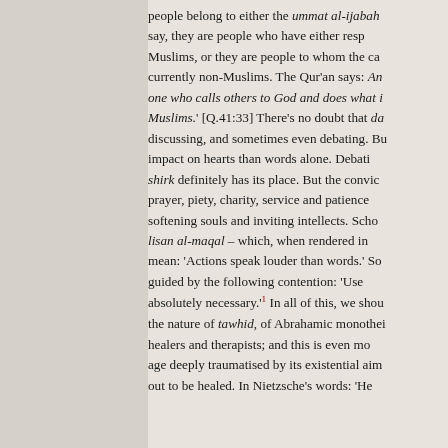people belong to either the ummat al-ijabah say, they are people who have either resp Muslims, or they are people to whom the ca currently non-Muslims. The Qur'an says: An one who calls others to God and does what i Muslims.' [Q.41:33] There's no doubt that da discussing, and sometimes even debating. Bu impact on hearts than words alone. Debati shirk definitely has its place. But the convic prayer, piety, charity, service and patience softening souls and inviting intellects. Scho lisan al-maqal – which, when rendered in mean: 'Actions speak louder than words.' So guided by the following contention: 'Use absolutely necessary.'1 In all of this, we shou the nature of tawhid, of Abrahamic monothei healers and therapists; and this is even mo age deeply traumatised by its existential aim out to be healed. In Nietzsche's words: 'He